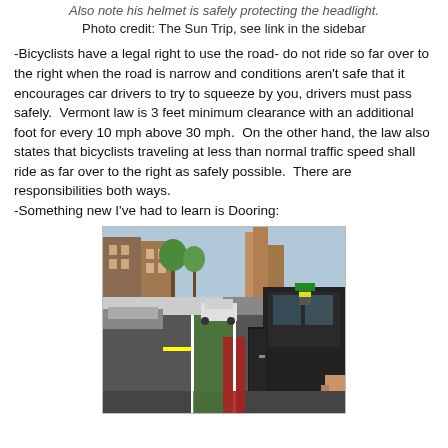Also note his helmet is safely protecting the headlight. Photo credit: The Sun Trip, see link in the sidebar
-Bicyclists have a legal right to use the road- do not ride so far over to the right when the road is narrow and conditions aren't safe that it encourages car drivers to try to squeeze by you, drivers must pass safely.  Vermont law is 3 feet minimum clearance with an additional foot for every 10 mph above 30 mph.  On the other hand, the law also states that bicyclists traveling at less than normal traffic speed shall ride as far over to the right as safely possible.  There are responsibilities both ways.
-Something new I've had to learn is Dooring:
[Figure (photo): Photo of a city street with a bike lane marked in green and red paint, with a car door open into the bike lane, demonstrating the concept of 'dooring' a cyclist.]